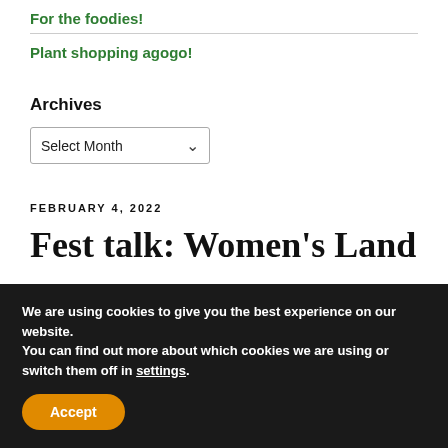For the foodies!
Plant shopping agogo!
Archives
Select Month
FEBRUARY 4, 2022
Fest talk: Women's Land
We are using cookies to give you the best experience on our website.
You can find out more about which cookies we are using or switch them off in settings.
Accept